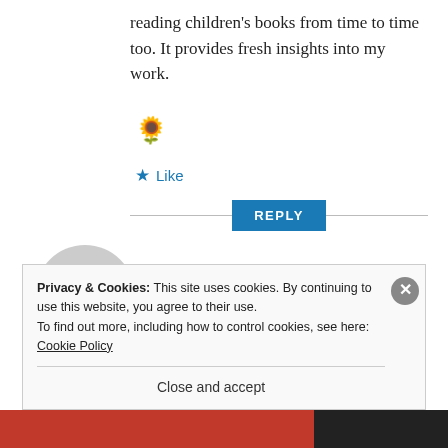reading children's books from time to time too. It provides fresh insights into my work.
[Figure (illustration): Sunflower emoji]
★ Like
REPLY
[Figure (illustration): Grey avatar/profile placeholder image]
Susan Joyce
AUGUST 28, 2016 AT 17:15
Privacy & Cookies: This site uses cookies. By continuing to use this website, you agree to their use.
To find out more, including how to control cookies, see here: Cookie Policy
Close and accept